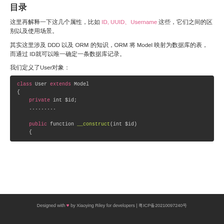目录
这里再解释一下这几个属性，比如 ID, UUID、Username 这些，它们之间的区别以及使用场景。
其实这里涉及 DDD 以及 ORM 的知识，ORM 将 Model 映射为数据库的表，而通过 ID就可以唯一确定一条数据库记录。
我们定义了User对象：
[Figure (screenshot): PHP code block showing class User extends Model with private int $id and public function __construct(int $id) {]
Designed with ❤ by Xiaoying Riley for developers | 粤ICP备20210097240号